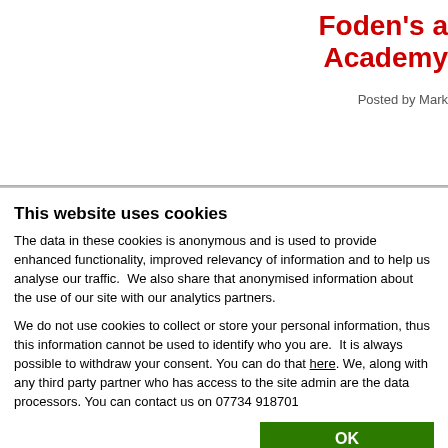Foden's a
Academy
Posted by Mark
This website uses cookies
The data in these cookies is anonymous and is used to provide enhanced functionality, improved relevancy of information and to help us analyse our traffic.  We also share that anonymised information about the use of our site with our analytics partners.
We do not use cookies to collect or store your personal information, thus this information cannot be used to identify who you are.  It is always possible to withdraw your consent. You can do that here. We, along with any third party partner who has access to the site admin are the data processors. You can contact us on 07734 918701
| Checkboxes | Show details |
| --- | --- |
| ✓ Necessary  ✓ Preferences  ✓ Statistics | Show details ∨ |
| Marketing |  |